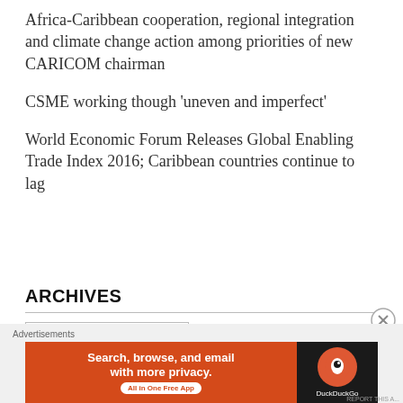Africa-Caribbean cooperation, regional integration and climate change action among priorities of new CARICOM chairman
CSME working though 'uneven and imperfect'
World Economic Forum Releases Global Enabling Trade Index 2016; Caribbean countries continue to lag
ARCHIVES
November 2017
[Figure (screenshot): DuckDuckGo advertisement banner: orange left panel with text 'Search, browse, and email with more privacy. All in One Free App' and dark right panel with DuckDuckGo logo and name]
Advertisements